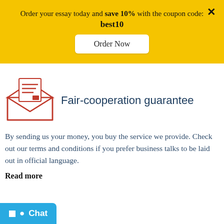Order your essay today and save 10% with the coupon code: best10
Order Now
[Figure (illustration): Red and white envelope icon with a letter/document sticking out of the top, featuring red horizontal lines and a small red rectangle symbol]
Fair-cooperation guarantee
By sending us your money, you buy the service we provide. Check out our terms and conditions if you prefer business talks to be laid out in official language.
Read more
Chat